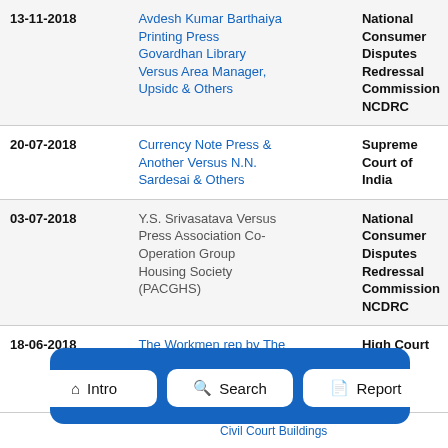| Date | Case | Court |
| --- | --- | --- |
| 13-11-2018 | Avdesh Kumar Barthaiya Printing Press Govardhan Library Versus Area Manager, Upsidc & Others | National Consumer Disputes Redressal Commission NCDRC |
| 20-07-2018 | Currency Note Press & Another Versus N.N. Sardesai & Others | Supreme Court of India |
| 03-07-2018 | Y.S. Srivasatava Versus Press Association Co-Operation Group Housing Society (PACGHS) | National Consumer Disputes Redressal Commission NCDRC |
| 18-06-2018 | The Workmen rep by The... | High Court of Judicature at... Industrial Tribunal, City Civil Court Buildings... |
[Figure (screenshot): Navigation bar overlay with three buttons: Intro (home icon), Search (magnifying glass icon), Report (document icon), displayed on a blue background with dashed border.]